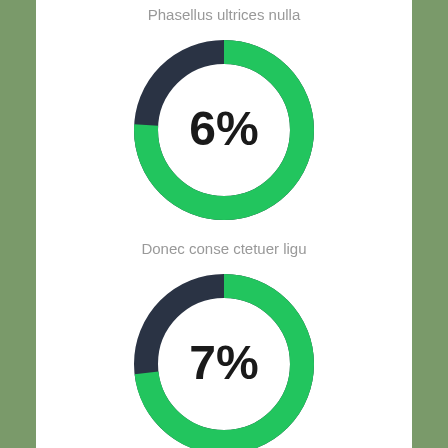[Figure (donut-chart): Phasellus ultrices nulla]
Phasellus ultrices nulla
[Figure (donut-chart): Donec conse ctetuer ligu]
Donec conse ctetuer ligu